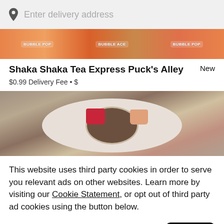Enter delivery address
[Figure (photo): Restaurant banner image showing bubble tea products with orange background and branded labels]
Shaka Shaka Tea Express Puck's Alley
New
$0.99 Delivery Fee • $
[Figure (photo): Overhead view of a table with various food dishes including a bowl of food, ketchup cup, sauce, and plates with food items]
This website uses third party cookies in order to serve you relevant ads on other websites. Learn more by visiting our Cookie Statement, or opt out of third party ad cookies using the button below.
Opt out
Got it